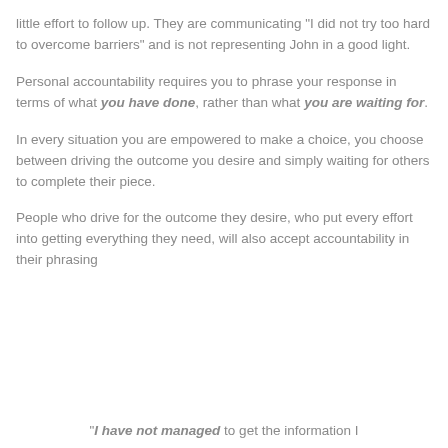little effort to follow up. They are communicating "I did not try too hard to overcome barriers" and is not representing John in a good light.
Personal accountability requires you to phrase your response in terms of what you have done, rather than what you are waiting for.
In every situation you are empowered to make a choice, you choose between driving the outcome you desire and simply waiting for others to complete their piece.
People who drive for the outcome they desire, who put every effort into getting everything they need, will also accept accountability in their phrasing
“I have not managed to get the information I